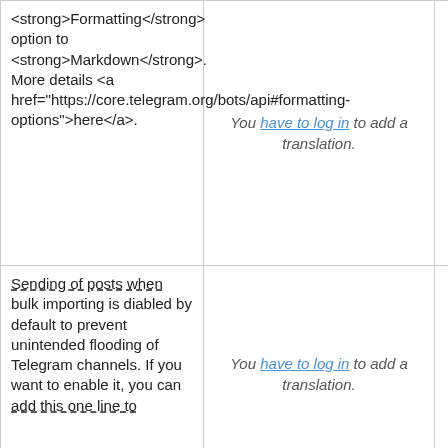| Description | Translation | Action |
| --- | --- | --- |
| <strong>Formatting</strong> option to <strong>Markdown</strong>. More details <a href="https://core.telegram.org/bots/api#formatting-options">here</a>. | You have to log in to add a translation. |  |
| Sending of posts when bulk importing is diabled by default to prevent unintended flooding of Telegram channels. If you want to enable it, you can add this one line to | You have to log in to add a translation. | Details |